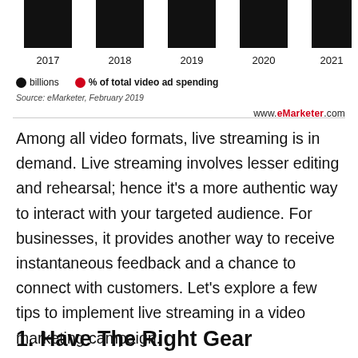[Figure (bar-chart): Partial bar chart showing bars for years 2017-2021 (tops are cut off). Two series: billions (black) and % of total video ad spending (red).]
● billions  ● % of total video ad spending
Source: eMarketer, February 2019
www.eMarketer.com
Among all video formats, live streaming is in demand. Live streaming involves lesser editing and rehearsal; hence it's a more authentic way to interact with your targeted audience. For businesses, it provides another way to receive instantaneous feedback and a chance to connect with customers. Let's explore a few tips to implement live streaming in a video marketing campaign.
1. Have The Right Gear